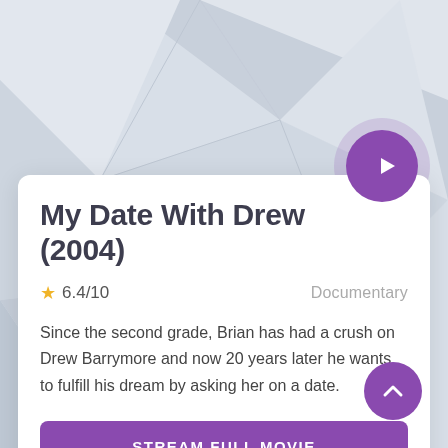[Figure (illustration): Abstract geometric polygon background in light grey/blue tones]
My Date With Drew (2004)
6.4/10   Documentary
Since the second grade, Brian has had a crush on Drew Barrymore and now 20 years later he wants to fulfill his dream by asking her on a date.
STREAM FULL MOVIE